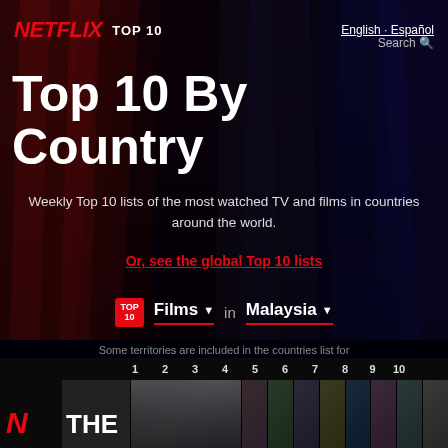NETFLIX TOP 10   English · Español   Search
Top 10 By Country
Weekly Top 10 lists of the most watched TV and films in countries around the world.
Or, see the global Top 10 lists
Films ▾  in  Malaysia ▾
Some territories are included in the countries list for convenience.
[Figure (screenshot): Bottom strip showing Netflix N logo, 'THE' text partial title, and numbered thumbnail strip 1-10 with movie thumbnails]